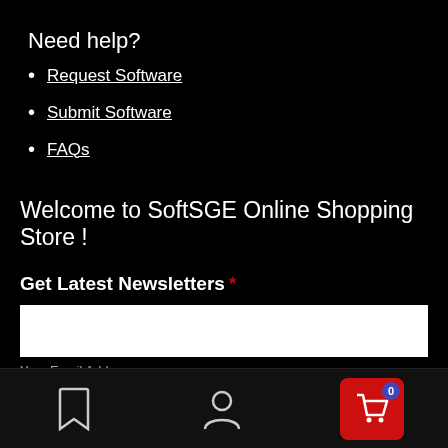Need help?
Request Software
Submit Software
FAQs
Welcome to SoftSGE Online Shopping Store !
Get Latest Newsletters *
Your Email Address
[Figure (screenshot): Bottom navigation bar with bookmark icon, user/profile icon, and red shopping cart button with badge showing 0]